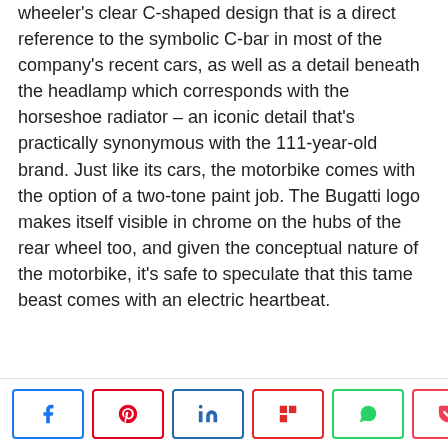wheeler's clear C-shaped design that is a direct reference to the symbolic C-bar in most of the company's recent cars, as well as a detail beneath the headlamp which corresponds with the horseshoe radiator – an iconic detail that's practically synonymous with the 111-year-old brand. Just like its cars, the motorbike comes with the option of a two-tone paint job. The Bugatti logo makes itself visible in chrome on the hubs of the rear wheel too, and given the conceptual nature of the motorbike, it's safe to speculate that this tame beast comes with an electric heartbeat.
Share buttons: Facebook, Pinterest, LinkedIn, Flipboard, WhatsApp, Pocket | 2.6K SHARES